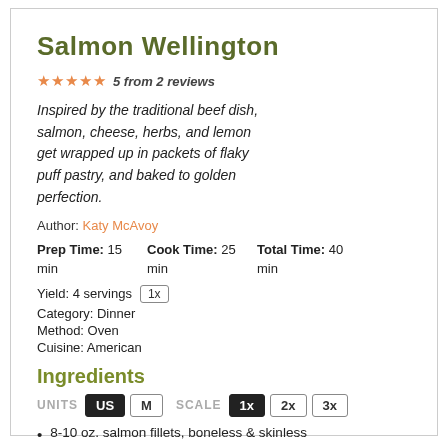Salmon Wellington
★★★★★ 5 from 2 reviews
Inspired by the traditional beef dish, salmon, cheese, herbs, and lemon get wrapped up in packets of flaky puff pastry, and baked to golden perfection.
Author: Katy McAvoy
Prep Time: 15 min  Cook Time: 25 min  Total Time: 40 min
Yield: 4 servings 1x
Category: Dinner
Method: Oven
Cuisine: American
Ingredients
UNITS US M SCALE 1x 2x 3x
8-10 oz. salmon fillets, boneless & skinless